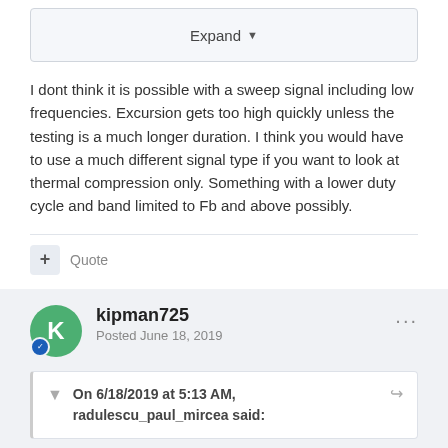Expand
I dont think it is possible with a sweep signal including low frequencies. Excursion gets too high quickly unless the testing is a much longer duration. I think you would have to use a much different signal type if you want to look at thermal compression only. Something with a lower duty cycle and band limited to Fb and above possibly.
+ Quote
kipman725
Posted June 18, 2019
On 6/18/2019 at 5:13 AM, radulescu_paul_mircea said: